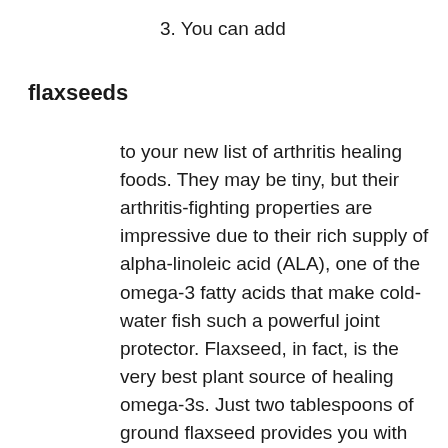3. You can add
flaxseeds
to your new list of arthritis healing foods. They may be tiny, but their arthritis-fighting properties are impressive due to their rich supply of alpha-linoleic acid (ALA), one of the omega-3 fatty acids that make cold-water fish such a powerful joint protector. Flaxseed, in fact, is the very best plant source of healing omega-3s. Just two tablespoons of ground flaxseed provides you with 140% of the daily recommendation for omega-3s.